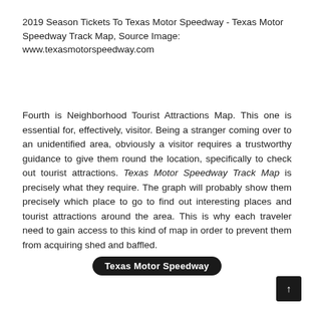2019 Season Tickets To Texas Motor Speedway - Texas Motor Speedway Track Map, Source Image: www.texasmotorspeedway.com
Fourth is Neighborhood Tourist Attractions Map. This one is essential for, effectively, visitor. Being a stranger coming over to an unidentified area, obviously a visitor requires a trustworthy guidance to give them round the location, specifically to check out tourist attractions. Texas Motor Speedway Track Map is precisely what they require. The graph will probably show them precisely which place to go to find out interesting places and tourist attractions around the area. This is why each traveler need to gain access to this kind of map in order to prevent them from acquiring shed and baffled.
[Figure (other): A dark pill-shaped button labeled 'Texas Motor Speedway']